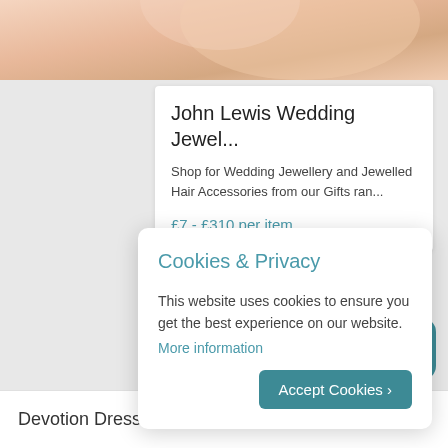[Figure (photo): Cropped photo of a person wearing jewelry, skin-tone background visible at top of page]
John Lewis Wedding Jewel...
Shop for Wedding Jewellery and Jewelled Hair Accessories from our Gifts ran...
£7 - £310 per item
Cookies & Privacy
This website uses cookies to ensure you get the best experience on our website.
More information
Accept Cookies
[Figure (illustration): Chat/messaging app icon button, teal rounded square with white chat bubbles]
Devotion Dresses
2